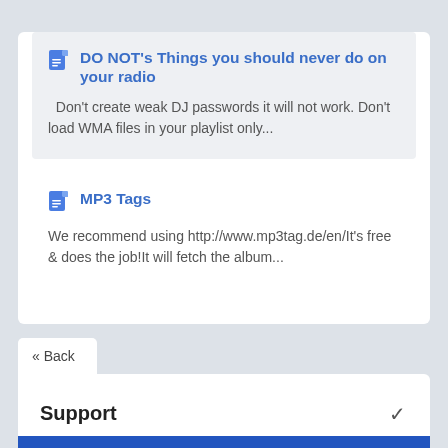DO NOT's Things you should never do on your radio
Don't create weak DJ passwords it will not work. Don't load WMA files in your playlist only...
MP3 Tags
We recommend using http://www.mp3tag.de/en/It's free & does the job!It will fetch the album...
« Back
Support